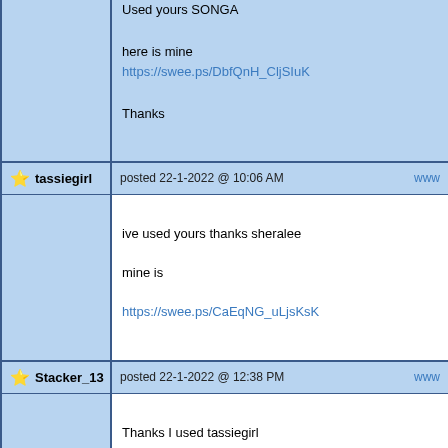Used yours SONGA

here is mine
https://swee.ps/DbfQnH_CljSIuK

Thanks
tassiegirl posted 22-1-2022 @ 10:06 AM www

ive used yours thanks sheralee

mine is

https://swee.ps/CaEqNG_uLjsKsK
Stacker_13 posted 22-1-2022 @ 12:38 PM www

Thanks I used tassiegirl
https://swee.ps/dAErnG_dLLapTj